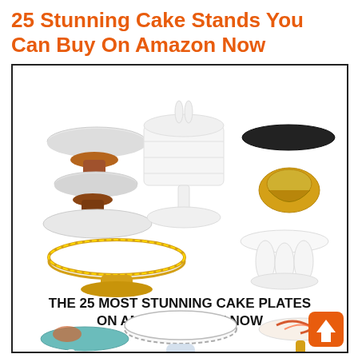25 Stunning Cake Stands You Can Buy On Amazon Now
[Figure (photo): Collage of various cake stands and cake plates available on Amazon, with text overlay reading 'THE 25 MOST STUNNING CAKE PLATES ON AMAZON RIGHT NOW']
[Figure (other): Orange square button with white upward arrow in bottom-right corner of the image]